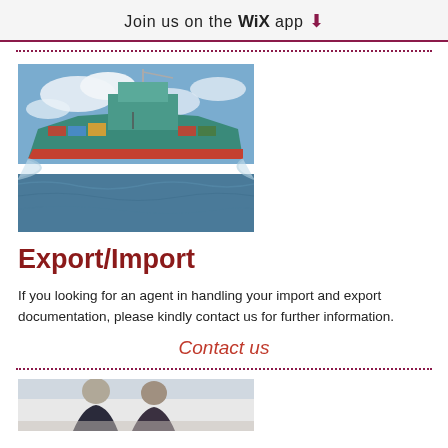Join us on the WiX app
[Figure (photo): Large cargo container ship photographed from the front at water level, teal hull with orange/red bottom, moving through water with blue sky and clouds in background]
Export/Import
If you looking for an agent in handling your import and export documentation, please kindly contact us for further information.
Contact us
[Figure (photo): Two people sitting at a table in a meeting or office setting, partially visible at the bottom of the page]